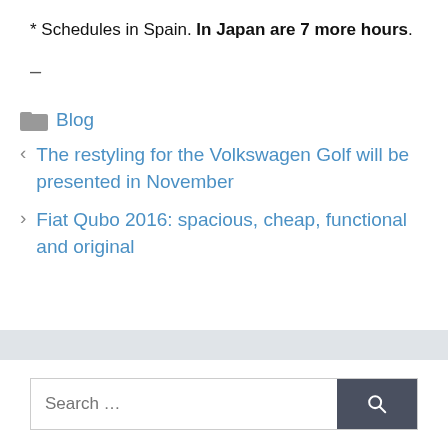* Schedules in Spain. In Japan are 7 more hours.
–
Blog
< The restyling for the Volkswagen Golf will be presented in November
> Fiat Qubo 2016: spacious, cheap, functional and original
Search ...